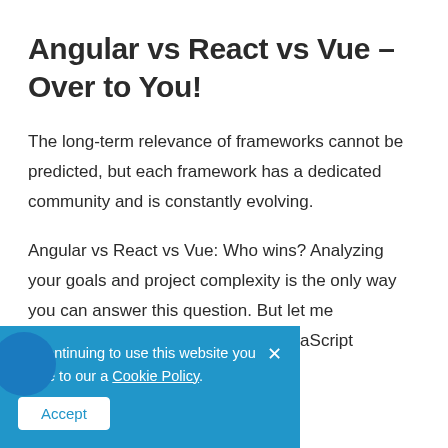Angular vs React vs Vue – Over to You!
The long-term relevance of frameworks cannot be predicted, but each framework has a dedicated community and is constantly evolving.
Angular vs React vs Vue: Who wins? Analyzing your goals and project complexity is the only way you can answer this question. But let me …experience and …aScript
By continuing to use this website you agree to our a Cookie Policy.